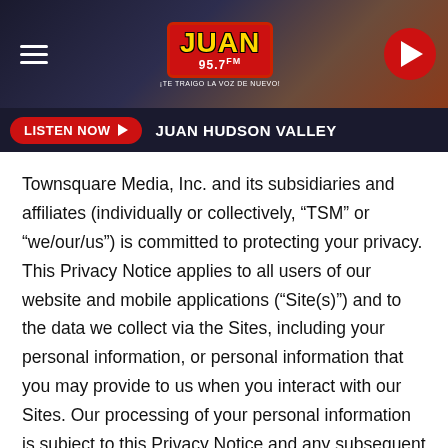[Figure (logo): Juan 95.7 FM radio station header with hamburger menu, logo, and play button on dark gradient background]
[Figure (screenshot): Listen Now button with play arrow and JUAN HUDSON VALLEY station name on dark bar]
Townsquare Media, Inc. and its subsidiaries and affiliates (individually or collectively, “TSM” or “we/our/us”) is committed to protecting your privacy. This Privacy Notice applies to all users of our website and mobile applications (“Site(s)”) and to the data we collect via the Sites, including your personal information, or personal information that you may provide to us when you interact with our Sites. Our processing of your personal information is subject to this Privacy Notice and any subsequent updates.
This Privacy Notice describes the type of information we may collect from you and or that you may provide us when you interact with our Sites, email, and online services,